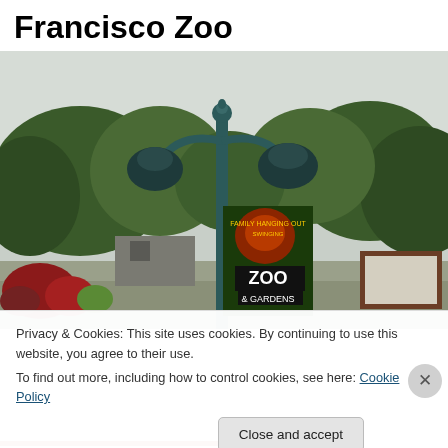Francisco Zoo
[Figure (photo): Outdoor photo of a decorative double-headed street lamp post at a zoo entrance. A colorful zoo banner hangs from the post showing animals and text 'ZOO & GARDENS'. Trees and greenery are visible in the background, along with some garden plantings and a wooden sign board on the right.]
Privacy & Cookies: This site uses cookies. By continuing to use this website, you agree to their use.
To find out more, including how to control cookies, see here: Cookie Policy